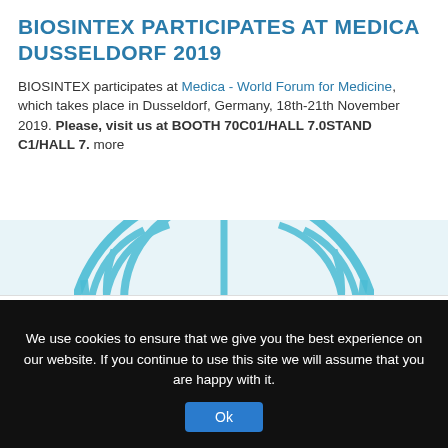BIOSINTEX PARTICIPATES AT MEDICA DUSSELDORF 2019
BIOSINTEX participates at Medica - World Forum for Medicine, which takes place in Dusseldorf, Germany, 18th-21th November 2019. Please, visit us at BOOTH 70C01/HALL 7.0STAND C1/HALL 7. more
[Figure (logo): Blue arc/sunburst logo graphic for Medica]
This site uses cookies.
www.biosintex.com has the obligation to administer, in safe conditions and only for the specified purposes, the personal data you provide about you. What, how and for what purpose do you find the page Privacy Policy
We use cookies to ensure that we give you the best experience on our website. If you continue to use this site we will assume that you are happy with it. Ok